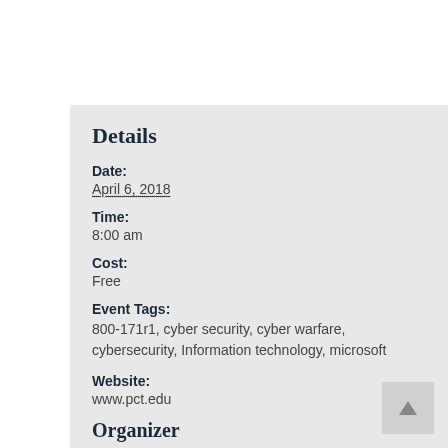Details
Date:
April 6, 2018
Time:
8:00 am
Cost:
Free
Event Tags:
800-171r1, cyber security, cyber warfare, cybersecurity, Information technology, microsoft
Website:
www.pct.edu
Organizer